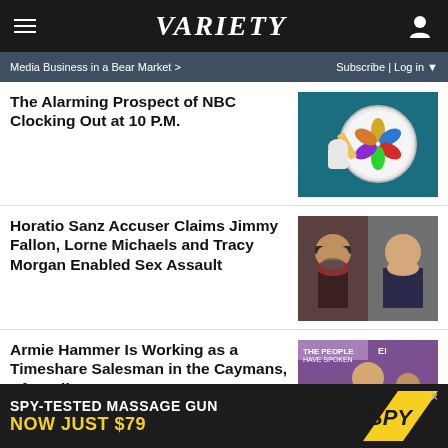VARIETY
Media Business in a Bear Market > | Subscribe | Log in
The Alarming Prospect of NBC Clocking Out at 10 P.M.
[Figure (photo): Hand with orange pencil pointing at NBC peacock logo color wheel]
Horatio Sanz Accuser Claims Jimmy Fallon, Lorne Michaels and Tracy Morgan Enabled Sex Assault
[Figure (photo): Side-by-side photos of Horatio Sanz and Jimmy Fallon]
Armie Hammer Is Working as a Timeshare Salesman in the Caymans, After All
[Figure (photo): Armie Hammer at People's Choice Awards event]
SPY-TESTED MASSAGE GUN NOW JUST $79